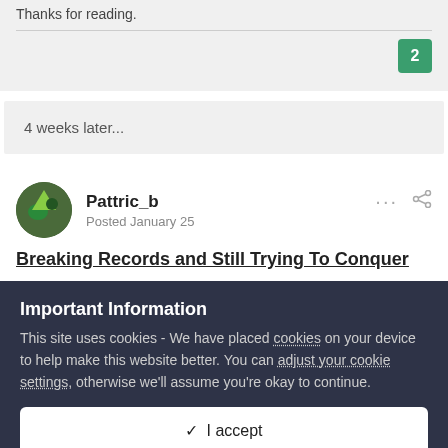Thanks for reading.
2
4 weeks later...
Pattric_b
Posted January 25
Breaking Records and Still Trying To Conquer
Important Information
This site uses cookies - We have placed cookies on your device to help make this website better. You can adjust your cookie settings, otherwise we'll assume you're okay to continue.
✓  I accept